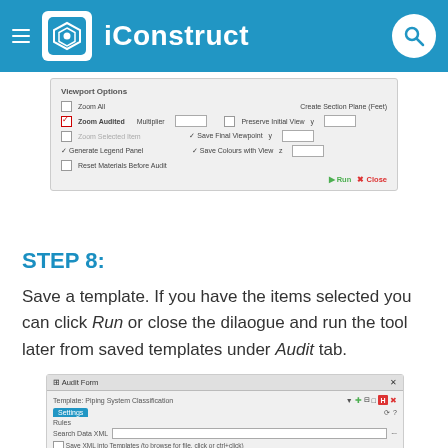iConstruct
[Figure (screenshot): iConstruct software dialog showing Viewport Options with checkboxes for Zoom All, Zoom Audited (checked), Zoom Selected Item, Generate Legend Panel, Reset Materials Before Audit, Create Section Plane (Feet), Preserve Initial View, Save Final Viewpoint, Save Colours with View, with Run and Close buttons]
STEP 8:
Save a template. If you have the items selected you can click Run or close the dilaogue and run the tool later from saved templates under Audit tab.
[Figure (screenshot): iConstruct Audit Form dialog showing Template: Piping System Classification with Settings tab, Rules section, Search box, Save XML into Templates checkbox, and table columns for Search Sel., Selection tool, Payment, Color, with a tooltip showing 'Save: Save the current template']